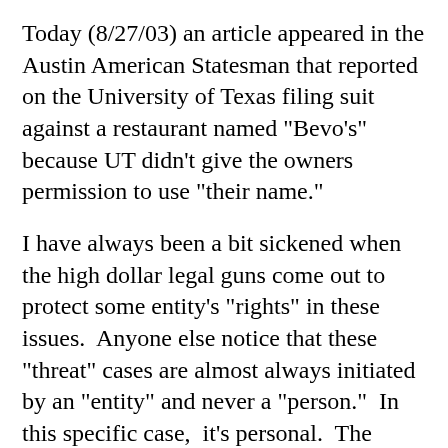Today (8/27/03) an article appeared in the Austin American Statesman that reported on the University of Texas filing suit against a restaurant named "Bevo's" because UT didn't give the owners permission to use "their name."
I have always been a bit sickened when the high dollar legal guns come out to protect some entity's "rights" in these issues.  Anyone else notice that these "threat" cases are almost always initiated by an "entity" and never a "person."  In this specific case,  it's personal.  The rights arguments that UT's consul is aiming at this firm now apply to me as well, and it's time to voice an opinion.